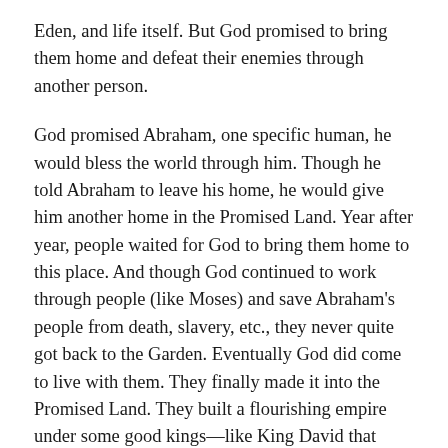Eden, and life itself. But God promised to bring them home and defeat their enemies through another person.
God promised Abraham, one specific human, he would bless the world through him. Though he told Abraham to leave his home, he would give him another home in the Promised Land. Year after year, people waited for God to bring them home to this place. And though God continued to work through people (like Moses) and save Abraham's people from death, slavery, etc., they never quite got back to the Garden. Eventually God did come to live with them. They finally made it into the Promised Land. They built a flourishing empire under some good kings—like King David that made people believe that perhaps everything was coming back together. But it wasn't to be...